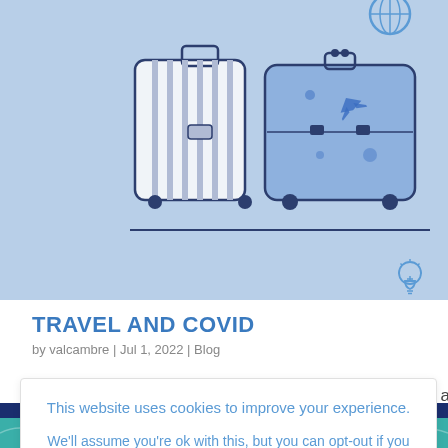[Figure (illustration): Light blue hero section with travel luggage illustration: two suitcases (one hard-shell white with blue stripes, one vintage-style with airplane motifs) on a light blue background. A small lightbulb icon appears in the lower right of the hero area.]
TRAVEL AND COVID
by valcambre | Jul 1, 2022 | Blog
This website uses cookies to improve your experience.
We'll assume you're ok with this, but you can opt-out if you wish.
we are so beautiful city, Seville, essful, and we Since COVID,